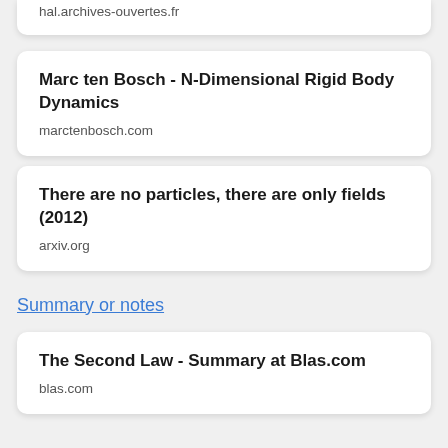hal.archives-ouvertes.fr
Marc ten Bosch - N-Dimensional Rigid Body Dynamics
marctenbosch.com
There are no particles, there are only fields (2012)
arxiv.org
Summary or notes
The Second Law - Summary at Blas.com
blas.com